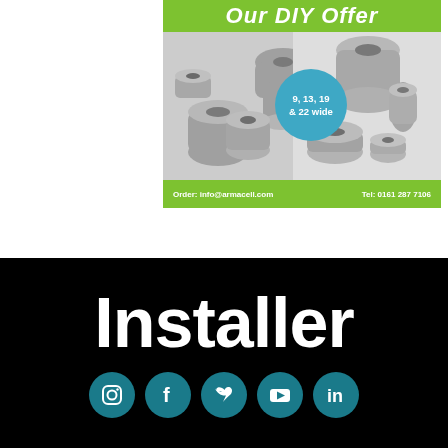[Figure (illustration): Armacell pipe insulation advertisement showing grey foam pipe insulation fittings (elbows, couplings) on left and right panels, with a blue circle overlay reading '9, 13, 19 & 22 wide', a green header bar partially showing 'Our DIY Offer', and a green footer bar with 'Order: info@armacell.com' and 'Tel: 0161 287 7106']
[Figure (logo): Black footer section with bold white 'Installer' text and five teal/dark-cyan circular social media icons: Instagram, Facebook, Twitter, YouTube, LinkedIn]